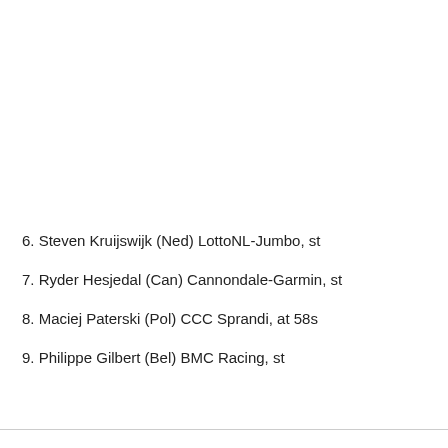6. Steven Kruijswijk (Ned) LottoNL-Jumbo, st
7. Ryder Hesjedal (Can) Cannondale-Garmin, st
8. Maciej Paterski (Pol) CCC Sprandi, at 58s
9. Philippe Gilbert (Bel) BMC Racing, st